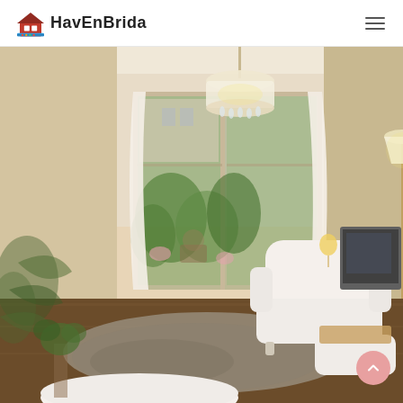[Figure (logo): HavEnBrida logo with house icon and brand name]
[Figure (photo): Interior living room with white armchair, crystal chandelier, floor lamp, sliding glass doors to balcony with greenery, grey rug, and white/cream decor]
[Figure (other): Scroll-to-top circular button with upward chevron arrow, pink/salmon color]